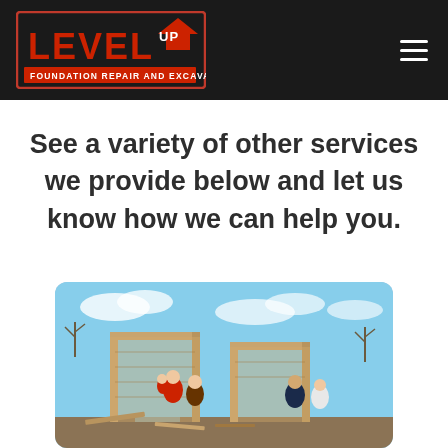Level Up Foundation Repair and Excavation
See a variety of other services we provide below and let us know how we can help you.
[Figure (photo): Construction site photo showing people standing in front of wooden framed house structure being built, blue sky with clouds in background]